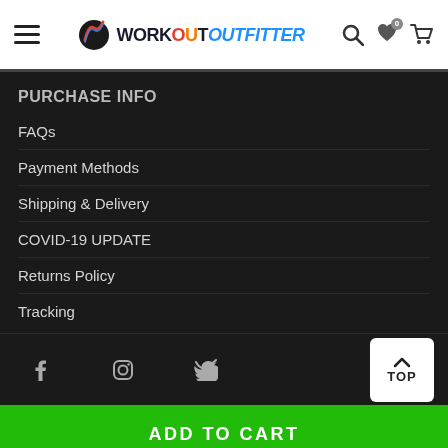WorkoutOutfitter navigation header with hamburger menu, logo, search, wishlist, cart
PURCHASE INFO
FAQs
Payment Methods
Shipping & Delivery
COVID-19 UPDATE
Returns Policy
Tracking
Social icons: Facebook, Instagram, Twitter | TOP button | ADD TO CART